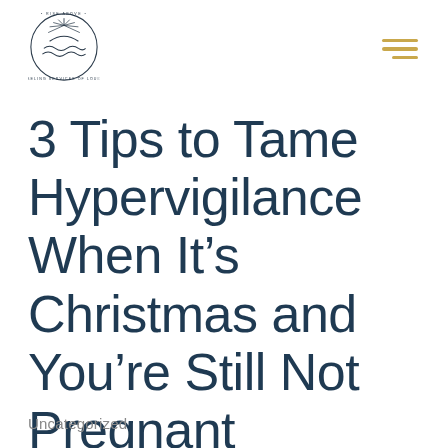Rise Above Counseling Services of Louisiana — logo and navigation
3 Tips to Tame Hypervigilance When It’s Christmas and You’re Still Not Pregnant
Uncategorized